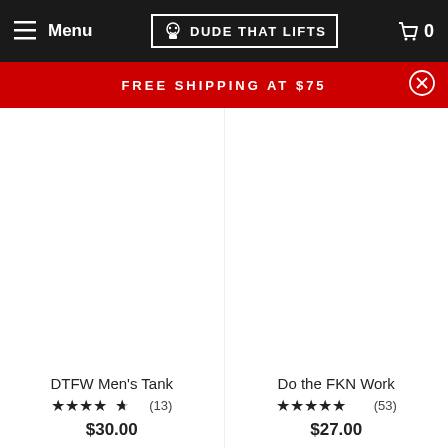Menu | DUDE THAT LIFTS | 0
FREE SHIPPING AT $75
[Figure (photo): Product image placeholder for DTFW Men's Tank (white area)]
DTFW Men's Tank
★★★★★ (13)
$30.00
[Figure (photo): Product image placeholder for Do the FKN Work (white area)]
Do the FKN Work
★★★★★ (53)
$27.00